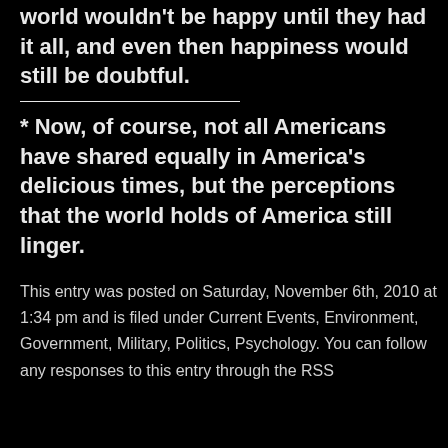world wouldn't be happy until they had it all, and even then happiness would still be doubtful.
* Now, of course, not all Americans have shared equally in America's delicious times, but the perceptions that the world holds of America still linger.
This entry was posted on Saturday, November 6th, 2010 at 1:34 pm and is filed under Current Events, Environment, Government, Military, Politics, Psychology. You can follow any responses to this entry through the RSS